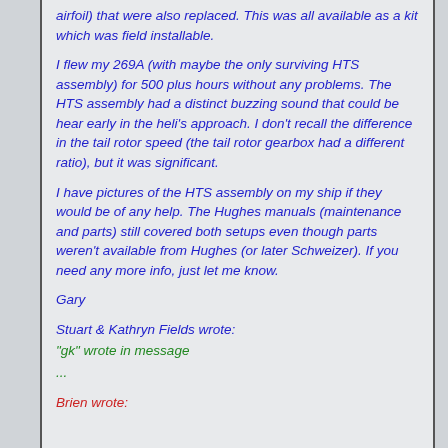airfoil) that were also replaced. This was all available as a kit which was field installable.
I flew my 269A (with maybe the only surviving HTS assembly) for 500 plus hours without any problems. The HTS assembly had a distinct buzzing sound that could be hear early in the heli's approach. I don't recall the difference in the tail rotor speed (the tail rotor gearbox had a different ratio), but it was significant.
I have pictures of the HTS assembly on my ship if they would be of any help. The Hughes manuals (maintenance and parts) still covered both setups even though parts weren't available from Hughes (or later Schweizer). If you need any more info, just let me know.
Gary
Stuart & Kathryn Fields wrote:
"gk" wrote in message
...
Brien wrote:
...